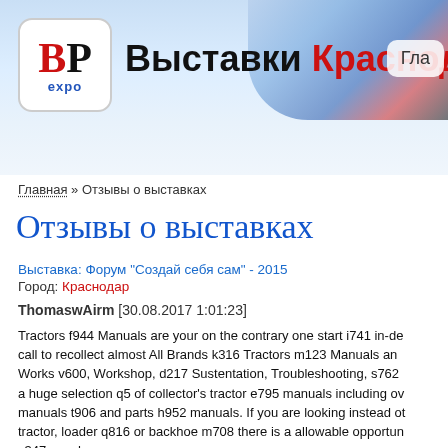Выставки Краснодар — Гла...
Главная » Отзывы о выставках
Отзывы о выставках
Выставка: Форум "Создай себя сам" - 2015
Город: Краснодар
ThomaswAirm [30.08.2017 1:01:23]
Tractors f944 Manuals are your on the contrary one start i741 in-de... call to recollect almost All Brands k316 Tractors m123 Manuals an... Works v600, Workshop, d217 Sustentation, Troubleshooting, s762 ... a huge selection q5 of collector's tractor e795 manuals including ov... manuals t906 and parts h952 manuals. If you are looking instead ot... tractor, loader q816 or backhoe m708 there is a allowable opportun... s347 warehouse.
https://www.gitbook.com/book/kideklelugolf/whirlpool-cabrio-dry...
Выставка: Форум "Создай себя сам" - 2015